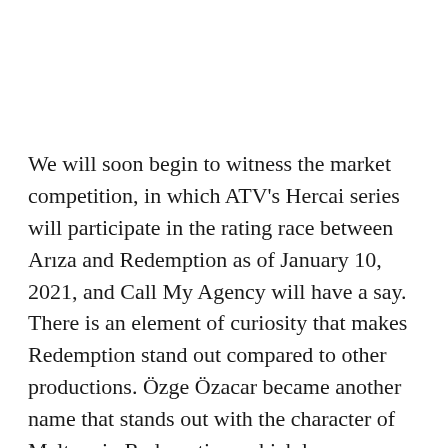We will soon begin to witness the market competition, in which ATV's Hercai series will participate in the rating race between Arıza and Redemption as of January 10, 2021, and Call My Agency will have a say. There is an element of curiosity that makes Redemption stand out compared to other productions. Özge Özacar became another name that stands out with the character of Meltem in Redemption, which has a very identical story with real life.